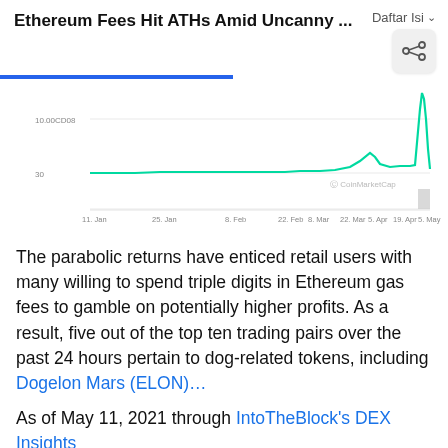Ethereum Fees Hit ATHs Amid Uncanny ... Daftar Isi
[Figure (continuous-plot): Line chart showing Ethereum gas fees from January to May 2021, with a dramatic spike upward at the far right (around May 5). Y-axis labels include 10.00CD08 and 30. X-axis labels: 11. Jan, 25. Jan, 8. Feb, 22. Feb, 8. Mar, 22. Mar, 5. Apr, 19. Apr, 5. May. Watermark: CoinMarketCap]
The parabolic returns have enticed retail users with many willing to spend triple digits in Ethereum gas fees to gamble on potentially higher profits. As a result, five out of the top ten trading pairs over the past 24 hours pertain to dog-related tokens, including Dogelon Mars (ELON)…
As of May 11, 2021 through IntoTheBlock's DEX Insights